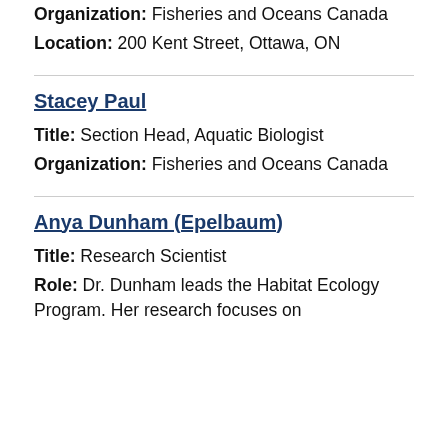Organization: Fisheries and Oceans Canada
Location: 200 Kent Street, Ottawa, ON
Stacey Paul
Title: Section Head, Aquatic Biologist
Organization: Fisheries and Oceans Canada
Anya Dunham (Epelbaum)
Title: Research Scientist
Role: Dr. Dunham leads the Habitat Ecology Program. Her research focuses on